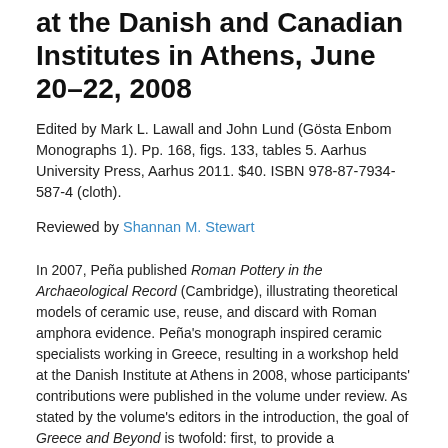at the Danish and Canadian Institutes in Athens, June 20–22, 2008
Edited by Mark L. Lawall and John Lund (Gösta Enbom Monographs 1). Pp. 168, figs. 133, tables 5. Aarhus University Press, Aarhus 2011. $40. ISBN 978-87-7934-587-4 (cloth).
Reviewed by Shannan M. Stewart
In 2007, Peña published Roman Pottery in the Archaeological Record (Cambridge), illustrating theoretical models of ceramic use, reuse, and discard with Roman amphora evidence. Peña's monograph inspired ceramic specialists working in Greece, resulting in a workshop held at the Danish Institute at Athens in 2008, whose participants' contributions were published in the volume under review. As stated by the volume's editors in the introduction, the goal of Greece and Beyond is twofold: first, to provide a geographical and chronological extension of Peña's Roman Pottery; and second, to create interpretive models for